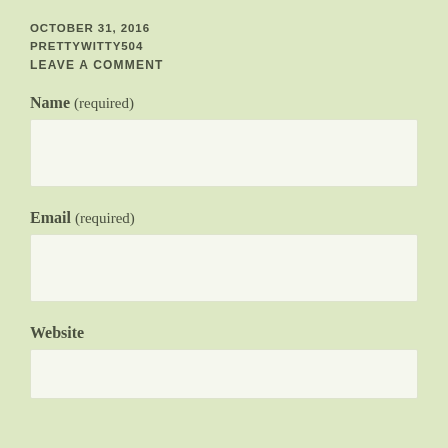OCTOBER 31, 2016
PRETTYWITTY504
LEAVE A COMMENT
Name (required)
[Figure (other): Empty text input field for Name]
Email (required)
[Figure (other): Empty text input field for Email]
Website
[Figure (other): Empty text input field for Website]